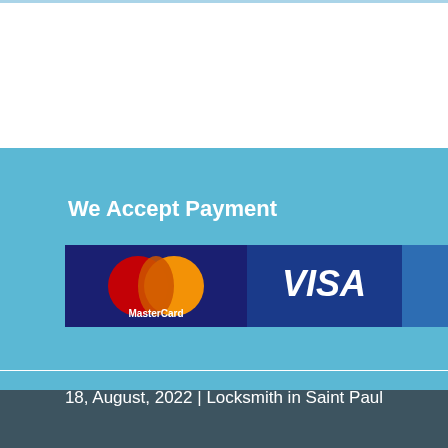We Accept Payment
[Figure (logo): Payment method logos: MasterCard, VISA, American Express, Discover Network]
18, August, 2022 | Locksmith in Saint Paul